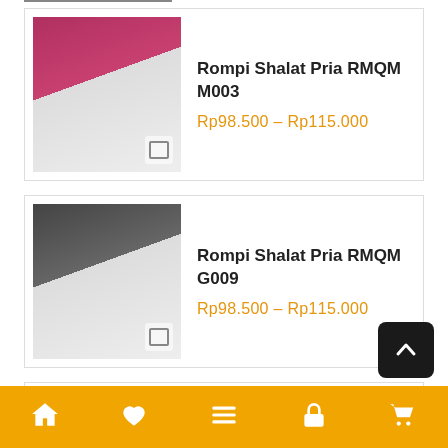[Figure (photo): Partial product image at top (cropped)]
Rompi Shalat Pria RMQM M003
Rp98.500 – Rp115.000
Rompi Shalat Pria RMQM G009
Rp98.500 – Rp115.000
Rompi Shalat Pria RMQM H002
Rp98.500 – Rp115.000
Arsip Toko
Maret 2022 (84)
Februari 2022 (368)
Januari 2022 (623)
Desember 2021 (850)
Navigation bar with home, heart, menu, lock, cart icons